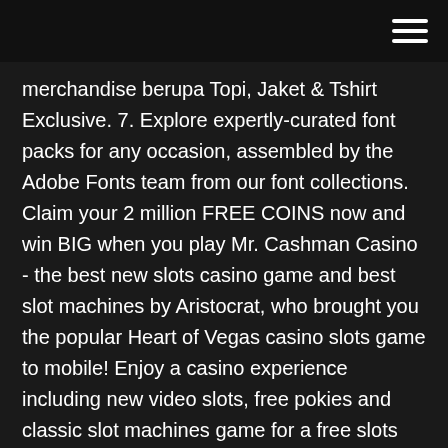merchandise berupa Topi, Jaket & Tshirt Exclusive. 7. Explore expertly-curated font packs for any occasion, assembled by the Adobe Fonts team from our font collections. Claim your 2 million FREE COINS now and win BIG when you play Mr. Cashman Casino - the best new slots casino game and best slot machines by Aristocrat, who brought you the popular Heart of Vegas casino slots game to mobile! Enjoy a casino experience including new video slots, free pokies and classic slot machines game for a free slots experience like no other!
Download Minecraft texture packs to update game graphics for any version or resolution. Sort